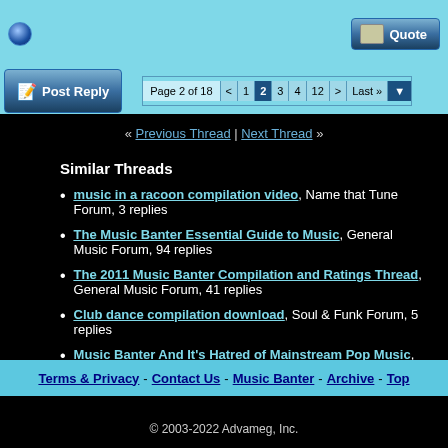[Figure (screenshot): Top light-blue bar with a circle icon on the left and a Quote button on the right]
[Figure (screenshot): Navigation bar with Post Reply button and pagination showing Page 2 of 18 with page links]
« Previous Thread | Next Thread »
Similar Threads
music in a racoon compilation video, Name that Tune Forum, 3 replies
The Music Banter Essential Guide to Music, General Music Forum, 94 replies
The 2011 Music Banter Compilation and Ratings Thread, General Music Forum, 41 replies
Club dance compilation download, Soul & Funk Forum, 5 replies
Music Banter And It's Hatred of Mainstream Pop Music, General Music Forum, 100 replies
Terms & Privacy - Contact Us - Music Banter - Archive - Top
© 2003-2022 Advameg, Inc.